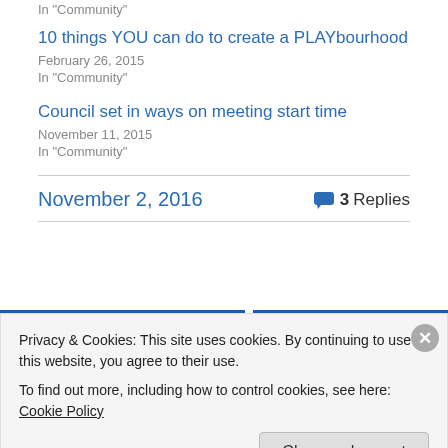In "Community"
10 things YOU can do to create a PLAYbourhood
February 26, 2015
In "Community"
Council set in ways on meeting start time
November 11, 2015
In "Community"
November 2, 2016
3 Replies
Privacy & Cookies: This site uses cookies. By continuing to use this website, you agree to their use.
To find out more, including how to control cookies, see here: Cookie Policy